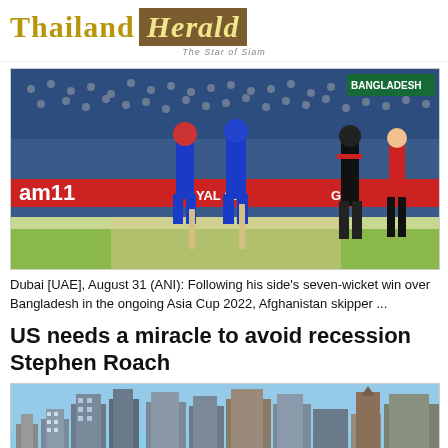Thailand Herald — The Star of Siam
[Figure (photo): Cricket match photo showing Afghanistan batsmen celebrating on the pitch with Bangladesh players in background, stadium advertising boards visible including 'am11' and 'Royal Challenge']
Dubai [UAE], August 31 (ANI): Following his side's seven-wicket win over Bangladesh in the ongoing Asia Cup 2022, Afghanistan skipper ...
US needs a miracle to avoid recession Stephen Roach
[Figure (photo): City skyline photo showing multiple skyscrapers and tall buildings against a blue sky]